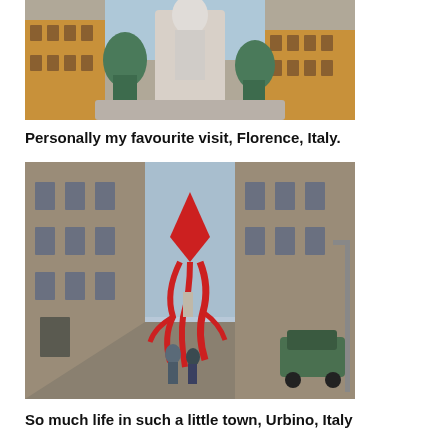[Figure (photo): Fountain sculpture with bronze figures and white marble statues in a piazza, with terracotta-colored Renaissance buildings in the background. Florence, Italy.]
Personally my favourite visit, Florence, Italy.
[Figure (photo): Narrow Italian street with stone medieval buildings on both sides. A large red kite or inflatable art piece with long red tentacles floats above the street. People walk along the street and a green car is parked on the right. Urbino, Italy.]
So much life in such a little town, Urbino, Italy